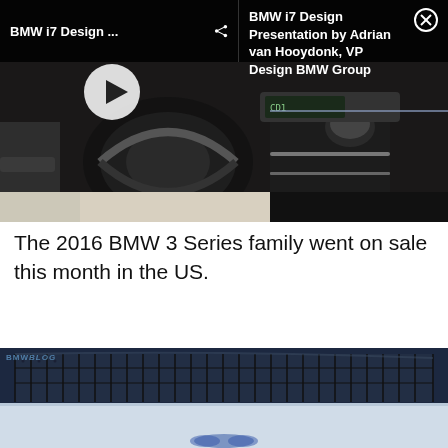[Figure (screenshot): Video thumbnail showing BMW i7 interior with dark overlay bar at top. Left side shows 'BMW i7 Design ...' title with share icon and play button. Right side shows 'BMW i7 Design Presentation by Adrian van Hooydonk, VP Design BMW Group' with close (X) button. Interior shows steering wheel, gear selector, and center console in dark and cream leather.]
The 2016 BMW 3 Series family went on sale this month in the US.
[Figure (photo): Partial view of a blue BMW car showing the roof panel with distinctive rectangular sunroof/panel sections from above, and the white car body below, with BMWBLOG watermark.]